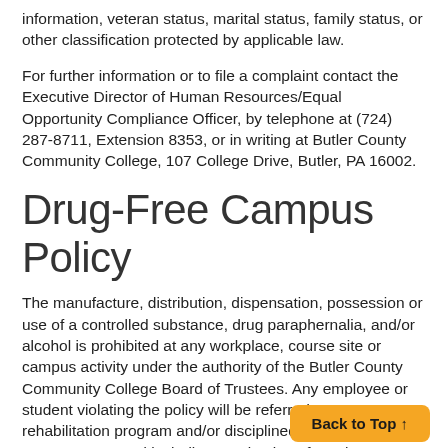information, veteran status, marital status, family status, or other classification protected by applicable law.
For further information or to file a complaint contact the Executive Director of Human Resources/Equal Opportunity Compliance Officer, by telephone at (724) 287-8711, Extension 8353, or in writing at Butler County Community College, 107 College Drive, Butler, PA 16002.
Drug-Free Campus Policy
The manufacture, distribution, dispensation, possession or use of a controlled substance, drug paraphernalia, and/or alcohol is prohibited at any workplace, course site or campus activity under the authority of the Butler County Community College Board of Trustees. Any employee or student violating the policy will be referred to a rehabilitation program and/or disciplined in an appropriate manner, up to and including termination of employment or expulsion. Discipline, when appropriate, shall be governed by the relevant provisions of Collective Bargaining Agreements